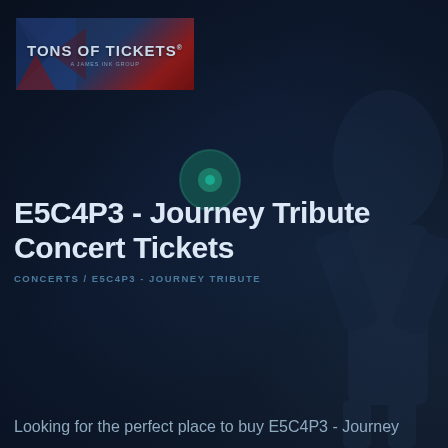[Figure (logo): Tons of Tickets logo with dark blue and red background, white text reading TONS OF TICKETS]
[Figure (illustration): Teal/green circular icon with dot in center, overlaid on dark concert background]
E5C4P3 - Journey Tribute Concert Tickets
CONCERTS / E5C4P3 - JOURNEY TRIBUTE
Looking for the perfect place to buy E5C4P3 - Journey